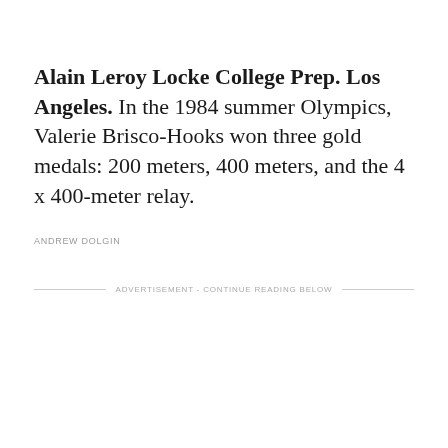Alain Leroy Locke College Prep. Los Angeles. In the 1984 summer Olympics, Valerie Brisco-Hooks won three gold medals: 200 meters, 400 meters, and the 4 x 400-meter relay.
ANDREW DOLGIN
ADVERTISEMENT - CONTINUE READING BELOW